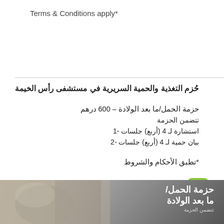Terms & Conditions apply*
حُزم التغذية والحمية السريرية في مستشفى رأس الخيمة
حزمة الحمل/ما بعد الولادة – 600 درهم
تتضمن الحزمة
استشارة لـ 4 (أربع) جلسات -1
بيان حمية لـ 4 (أربع) جلسات -2
*تطبق الأحكام والشروط
قسم التغذية السريرية والحمية
[Figure (photo): Banner image showing a pregnant woman holding a glass of milk, with Arabic text overlay: حزمة الحمل/ ما بعد الولادة and partial text below]